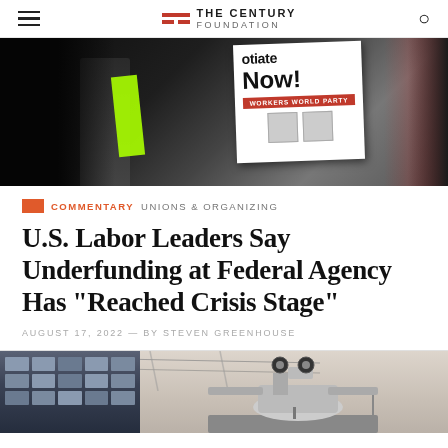The Century Foundation
[Figure (photo): Protest scene with people holding signs including one reading 'Negotiate Now!' with red banner text, a neon green sign, and a dark-clothed figure in the foreground]
COMMENTARY UNIONS & ORGANIZING
U.S. Labor Leaders Say Underfunding at Federal Agency Has “Reached Crisis Stage”
AUGUST 17, 2022 — BY STEVEN GREENHOUSE
[Figure (photo): Industrial sewing machine against a pink/beige background with a factory building visible on the left side]